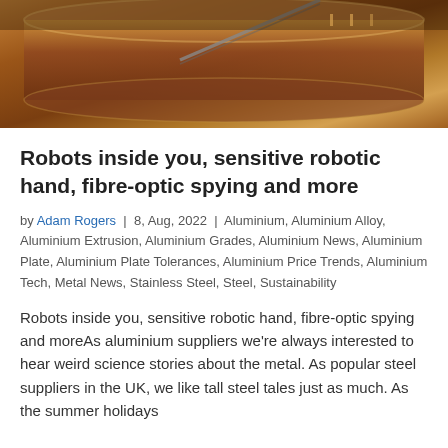[Figure (photo): Close-up photo of industrial metallic cylindrical equipment, warm amber/copper tones, possibly aluminium or steel industrial machinery]
Robots inside you, sensitive robotic hand, fibre-optic spying and more
by Adam Rogers | 8, Aug, 2022 | Aluminium, Aluminium Alloy, Aluminium Extrusion, Aluminium Grades, Aluminium News, Aluminium Plate, Aluminium Plate Tolerances, Aluminium Price Trends, Aluminium Tech, Metal News, Stainless Steel, Steel, Sustainability
Robots inside you, sensitive robotic hand, fibre-optic spying and moreAs aluminium suppliers we're always interested to hear weird science stories about the metal. As popular steel suppliers in the UK, we like tall steel tales just as much. As the summer holidays